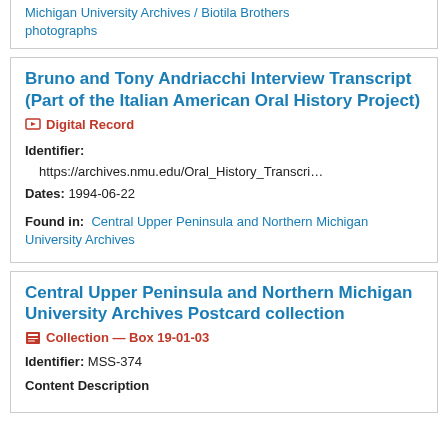Michigan University Archives / Biotila Brothers photographs
Bruno and Tony Andriacchi Interview Transcript (Part of the Italian American Oral History Project)
Digital Record
Identifier: https://archives.nmu.edu/Oral_History_Transcri…
Dates: 1994-06-22
Found in: Central Upper Peninsula and Northern Michigan University Archives
Central Upper Peninsula and Northern Michigan University Archives Postcard collection
Collection — Box 19-01-03
Identifier: MSS-374
Content Description